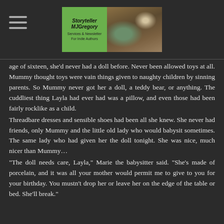Storyteller MJGregory — Services & Newsletter for Indie Authors
age of sixteen, she'd never had a doll before. Never been allowed toys at all. Mummy thought toys were vain things given to naughty children by sinning parents. So Mummy never got her a doll, a teddy bear, or anything. The cuddliest thing Layla had ever had was a pillow, and even those had been fairly rocklike as a child.
Threadbare dresses and sensible shoes had been all she knew. She never had friends, only Mummy and the little old lady who would babysit sometimes. The same lady who had given her the doll tonight. She was nice, much nicer than Mummy…
"The doll needs care, Layla," Marie the babysitter said. "She's made of porcelain, and it was all your mother would permit me to give to you for your birthday. You mustn't drop her or leave her on the edge of the table or bed. She'll break."